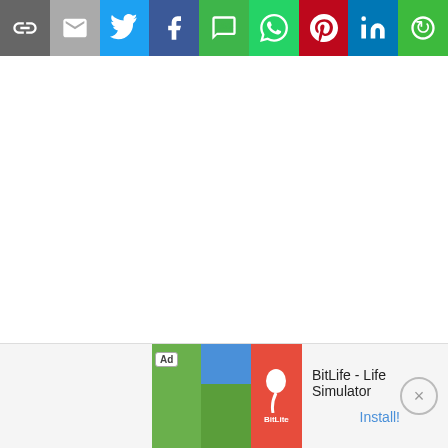[Figure (screenshot): Social media share bar with icons: link, email, Twitter, Facebook, SMS, WhatsApp, Pinterest, LinkedIn, and more options]
[Figure (screenshot): Advertisement banner for BitLife - Life Simulator app with Ad label, app screenshots, app icon, title and Install button]